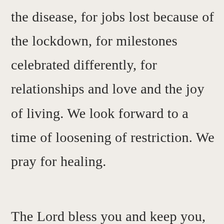the disease, for jobs lost because of the lockdown, for milestones celebrated differently, for relationships and love and the joy of living. We look forward to a time of loosening of restriction. We pray for healing.

The Lord bless you and keep you,